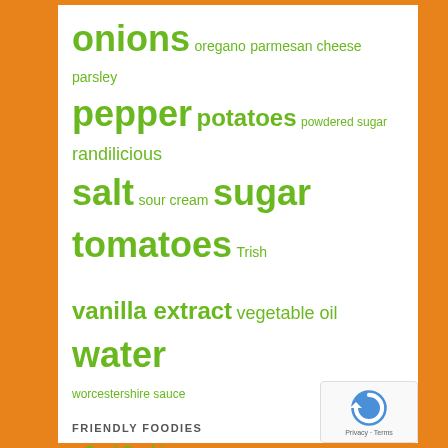onions oregano parmesan cheese parsley pepper potatoes powdered sugar randilicious salt sour cream sugar tomatoes Trish vanilla extract vegetable oil water worcestershire sauce
FRIENDLY FOODIES
Cool Cooking
Sasha's Den of Iniquity
Tasty Lies
ARCHIVES
December 2017
September 2017
July 2017
December 2016
December 2014